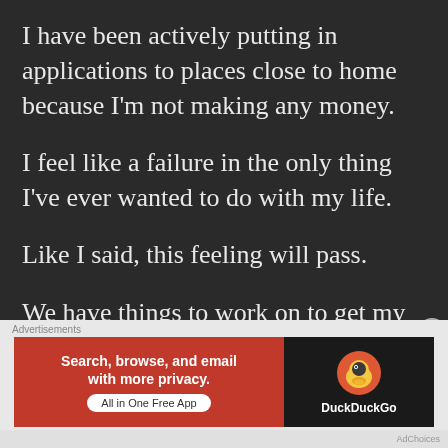I have been actively putting in applications to places close to home because I'm not making any money.
I feel like a failure in the only thing I've ever wanted to do with my life.
Like I said, this feeling will pass.
We have things to work on to get my workspace more like an artist shop. At this time, it's in my bedroom and there's very little
[Figure (screenshot): DuckDuckGo advertisement banner with orange left side reading 'Search, browse, and email with more privacy. All in One Free App' and dark right side with DuckDuckGo duck logo and brand name.]